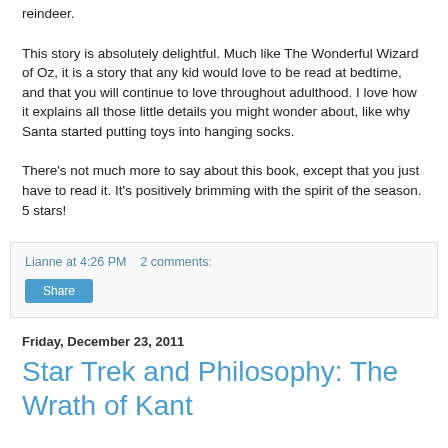reindeer.
This story is absolutely delightful. Much like The Wonderful Wizard of Oz, it is a story that any kid would love to be read at bedtime, and that you will continue to love throughout adulthood. I love how it explains all those little details you might wonder about, like why Santa started putting toys into hanging socks.
There's not much more to say about this book, except that you just have to read it. It's positively brimming with the spirit of the season. 5 stars!
Lianne at 4:26 PM    2 comments:
Share
Friday, December 23, 2011
Star Trek and Philosophy: The Wrath of Kant